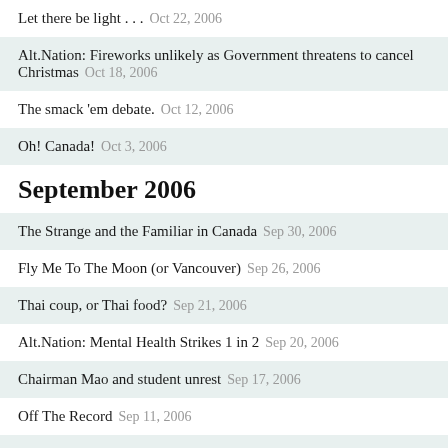Let there be light . . .  Oct 22, 2006
Alt.Nation: Fireworks unlikely as Government threatens to cancel Christmas  Oct 18, 2006
The smack 'em debate.  Oct 12, 2006
Oh! Canada!  Oct 3, 2006
September 2006
The Strange and the Familiar in Canada  Sep 30, 2006
Fly Me To The Moon (or Vancouver)  Sep 26, 2006
Thai coup, or Thai food?  Sep 21, 2006
Alt.Nation: Mental Health Strikes 1 in 2  Sep 20, 2006
Chairman Mao and student unrest  Sep 17, 2006
Off The Record  Sep 11, 2006
Anniversaries: Lest Me Forget  Sep 7, 2006